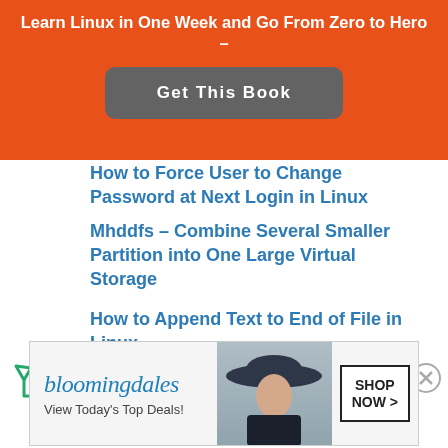Learn Linux in One Week and Go From Zero to Hero –
Get This Book
How to Force User to Change Password at Next Login in Linux
Mhddfs – Combine Several Smaller Partition into One Large Virtual Storage
How to Append Text to End of File in Linux
Useful Commands to Create Commandline Chat Server and Remove Unwanted Packages in Linux
[Figure (infographic): Bloomingdale's advertisement banner with logo, 'View Today's Top Deals!' text, woman with hat image, and 'SHOP NOW >' button]